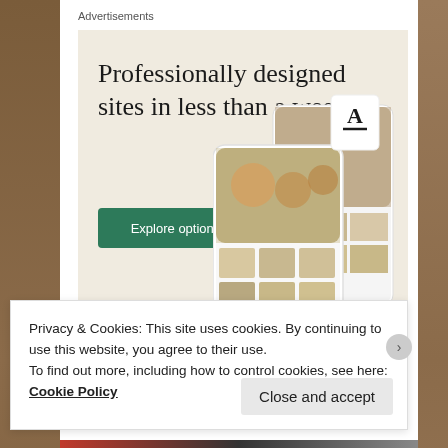Advertisements
[Figure (illustration): WordPress advertisement banner with beige background showing text 'Professionally designed sites in less than a week', a green 'Explore options' button, WordPress logo, and mockup screenshots of website designs including food photos.]
Privacy & Cookies: This site uses cookies. By continuing to use this website, you agree to their use.
To find out more, including how to control cookies, see here: Cookie Policy
Close and accept